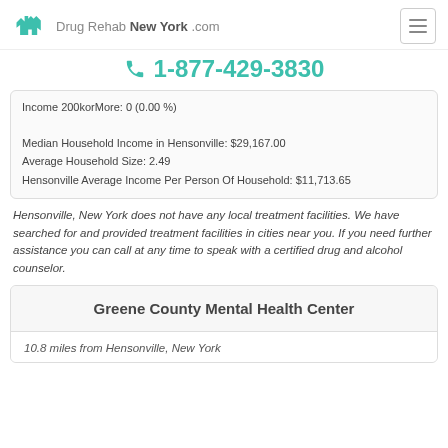Drug Rehab New York .com
1-877-429-3830
Income 200korMore: 0 (0.00 %)

Median Household Income in Hensonville: $29,167.00
Average Household Size: 2.49
Hensonville Average Income Per Person Of Household: $11,713.65
Hensonville, New York does not have any local treatment facilities. We have searched for and provided treatment facilities in cities near you. If you need further assistance you can call at any time to speak with a certified drug and alcohol counselor.
Greene County Mental Health Center
10.8 miles from Hensonville, New York